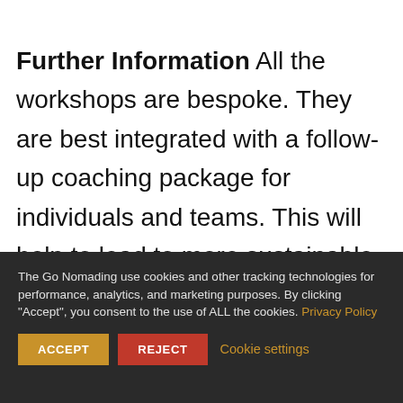Further Information All the workshops are bespoke. They are best integrated with a follow-up coaching package for individuals and teams. This will help to lead to more sustainable transformation and higher inspired
The Go Nomading use cookies and other tracking technologies for performance, analytics, and marketing purposes. By clicking "Accept", you consent to the use of ALL the cookies. Privacy Policy